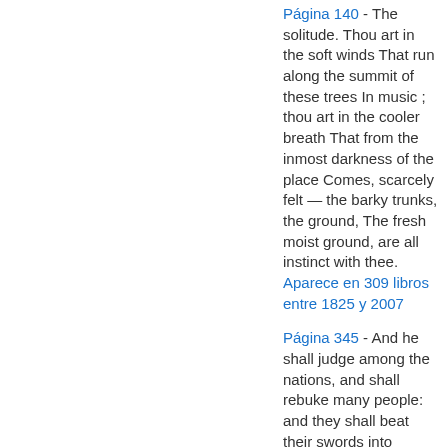Página 140 - The solitude. Thou art in the soft winds That run along the summit of these trees In music ; thou art in the cooler breath That from the inmost darkness of the place Comes, scarcely felt — the barky trunks, the ground, The fresh moist ground, are all instinct with thee. Aparece en 309 libros entre 1825 y 2007
Página 345 - And he shall judge among the nations, and shall rebuke many people: and they shall beat their swords into plowshares, and their spears into pruninghooks: nation